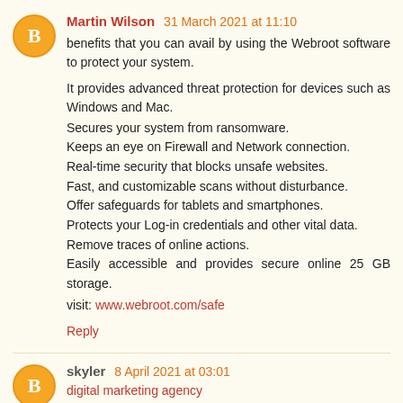Martin Wilson 31 March 2021 at 11:10
benefits that you can avail by using the Webroot software to protect your system.
It provides advanced threat protection for devices such as Windows and Mac.
Secures your system from ransomware.
Keeps an eye on Firewall and Network connection.
Real-time security that blocks unsafe websites.
Fast, and customizable scans without disturbance.
Offer safeguards for tablets and smartphones.
Protects your Log-in credentials and other vital data.
Remove traces of online actions.
Easily accessible and provides secure online 25 GB storage.
visit: www.webroot.com/safe
Reply
skyler 8 April 2021 at 03:01
digital marketing agency